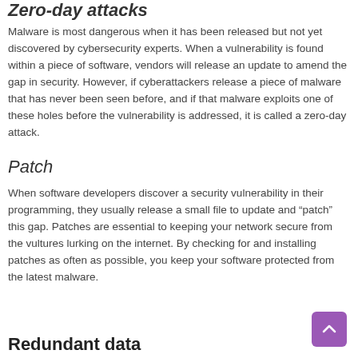Zero-day attacks
Malware is most dangerous when it has been released but not yet discovered by cybersecurity experts. When a vulnerability is found within a piece of software, vendors will release an update to amend the gap in security. However, if cyberattackers release a piece of malware that has never been seen before, and if that malware exploits one of these holes before the vulnerability is addressed, it is called a zero-day attack.
Patch
When software developers discover a security vulnerability in their programming, they usually release a small file to update and “patch” this gap. Patches are essential to keeping your network secure from the vultures lurking on the internet. By checking for and installing patches as often as possible, you keep your software protected from the latest malware.
Redundant data